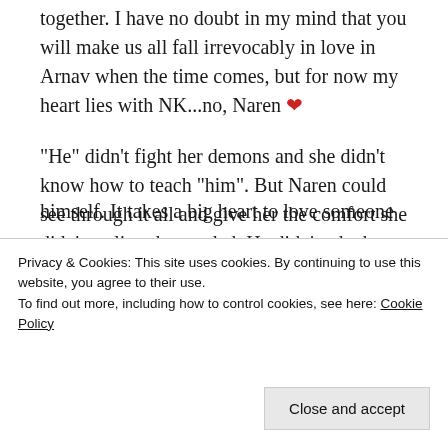together. I have no doubt in my mind that you will make us all fall irrevocably in love in Arnav when the time comes, but for now my heart lies with NK...no, Naren ❤
“He” didn’t fight her demons and she didn’t know how to teach “him”. But Naren could see through it all and give her the comfort she didn’t realize she needed. He didn’t take her request to leave her alone at face value, unlike “him”. Even Lavanya, who was supposedly her best friend, didn’t find it
himself. It takes a big heart to love someone
Privacy & Cookies: This site uses cookies. By continuing to use this website, you agree to their use.
To find out more, including how to control cookies, see here: Cookie Policy
Close and accept